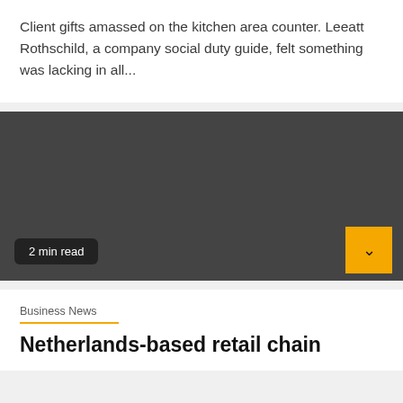Client gifts amassed on the kitchen area counter. Leeatt Rothschild, a company social duty guide, felt something was lacking in all...
[Figure (photo): Dark gray placeholder image for an article, approximately 430x600 pixels in the original, shown as a dark rectangular block. Contains a '2 min read' badge at the bottom left and an up-arrow button in amber/gold at bottom right.]
2 min read
Business News
Netherlands-based retail chain